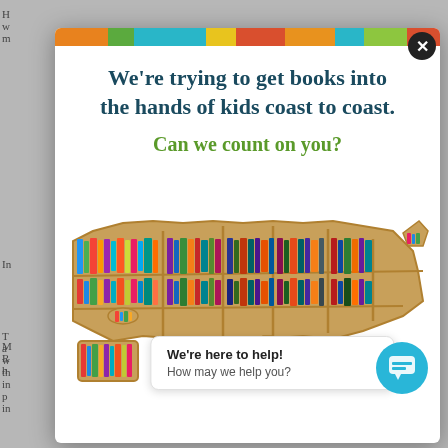[Figure (screenshot): Modal popup overlay on a webpage. Contains a colorful stripe header with multiple color blocks (orange, green, teal, yellow, red, orange, teal, green, red), a close X button. Text reads: We're trying to get books into the hands of kids coast to coast. Can we count on you? A photo of a USA-shaped bookshelf filled with colorful books. A chat bubble at bottom says: We're here to help! How may we help you? with a teal chat icon circle.]